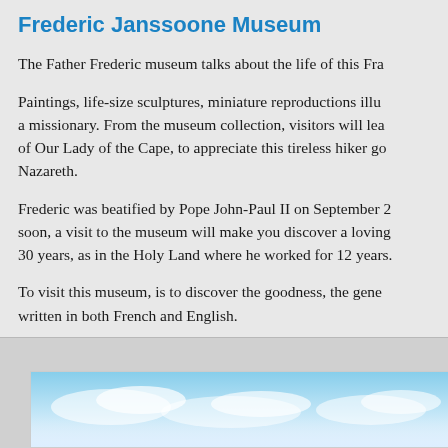Frederic Janssoone Museum
The Father Frederic museum talks about the life of this Fra...
Paintings, life-size sculptures, miniature reproductions illu... a missionary. From the museum collection, visitors will lea... of Our Lady of the Cape, to appreciate this tireless hiker go... Nazareth.
Frederic was beatified by Pope John-Paul II on September 2... soon, a visit to the museum will make you discover a loving... 30 years, as in the Holy Land where he worked for 12 years.
To visit this museum, is to discover the goodness, the gene... written in both French and English.
[Figure (photo): Partial view of a photo showing a blue sky with clouds, framed in white, at the bottom of the page]